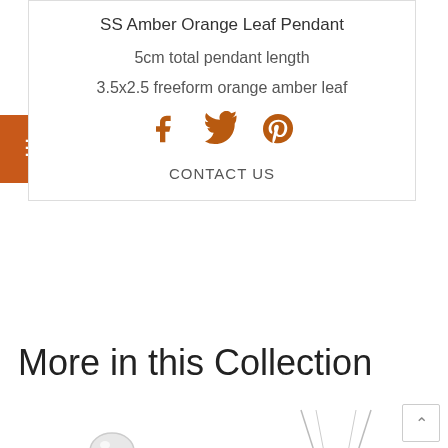SS Amber Orange Leaf Pendant
5cm total pendant length
3.5x2.5 freeform orange amber leaf
[Figure (infographic): Social media icons: Facebook, Twitter, Pinterest in orange/brown color]
CONTACT US
More in this Collection
[Figure (photo): Silver ring with pearl center stone]
[Figure (photo): Silver necklace chain with V-shape pendant]